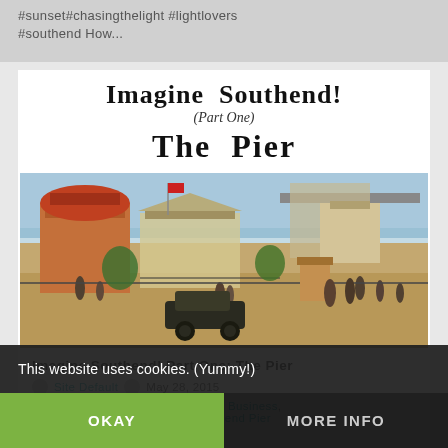#sunset#chasingthelight #lightlovers #southend How...
Imagine Southend! (Part One) The Pier
[Figure (photo): Historical colorized photograph of Southend Pier area showing Victorian-era buildings, people, early automobile, and pier structure in the background]
Imagine Southend! Part One: The Pier
Site Default   May 28, 2015
Landmarks & Attractions, Local Business, Seaside, Southend, Southend Pier
1 Comment
This website uses cookies. (Yummy!)
OKAY
MORE INFO